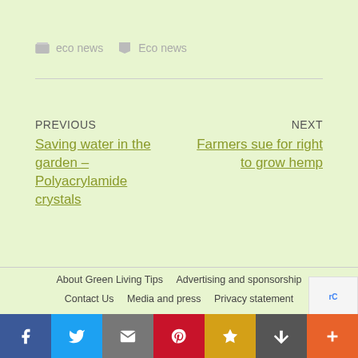eco news   Eco news
PREVIOUS
Saving water in the garden – Polyacrylamide crystals
NEXT
Farmers sue for right to grow hemp
About Green Living Tips   Advertising and sponsorship   Contact Us   Media and press   Privacy statement